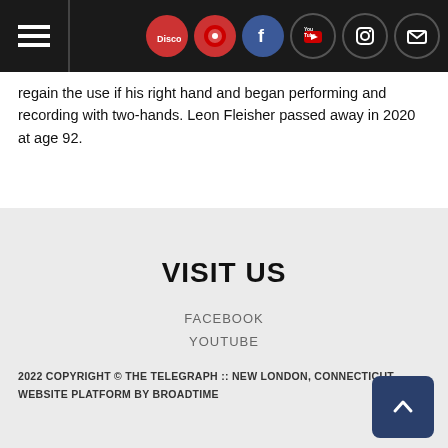Navigation and social icons header bar
regain the use if his right hand and began performing and recording with two-hands. Leon Fleisher passed away in 2020 at age 92.
VISIT US
FACEBOOK
YOUTUBE
INSTAGRAM
EMAIL
2022 COPYRIGHT © THE TELEGRAPH :: NEW LONDON, CONNECTICUT
WEBSITE PLATFORM BY BROADTIME